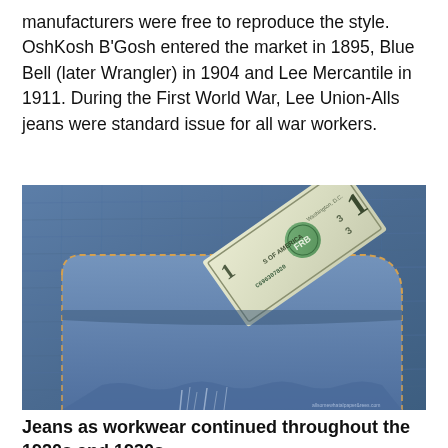manufacturers were free to reproduce the style. OshKosh B'Gosh entered the market in 1895, Blue Bell (later Wrangler) in 1904 and Lee Mercantile in 1911. During the First World War, Lee Union-Alls jeans were standard issue for all war workers.
[Figure (photo): A US one-dollar bill sticking out of the back pocket of worn blue denim jeans. The pocket shows the bill at an angle, with the serial number C696307820 visible. The jeans appear distressed/ripped at the bottom.]
Jeans as workwear continued throughout the 1920s and 1930s...